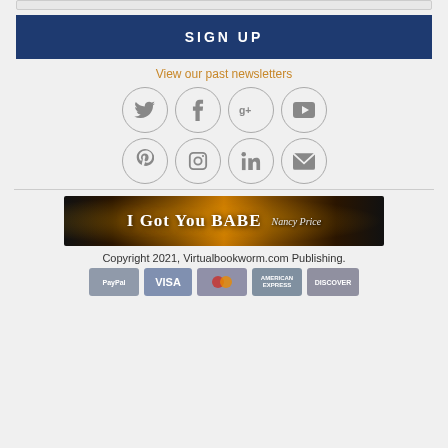[Figure (other): Top input bar (partial, cropped)]
SIGN UP
View our past newsletters
[Figure (other): Social media icons: Twitter, Facebook, Google+, YouTube, Pinterest, Instagram, LinkedIn, Email]
[Figure (other): Book banner: I Got You BABE by Nancy Price]
Copyright 2021, Virtualbookworm.com Publishing.
[Figure (other): Payment icons: PayPal, Visa, Mastercard, American Express, Discover]